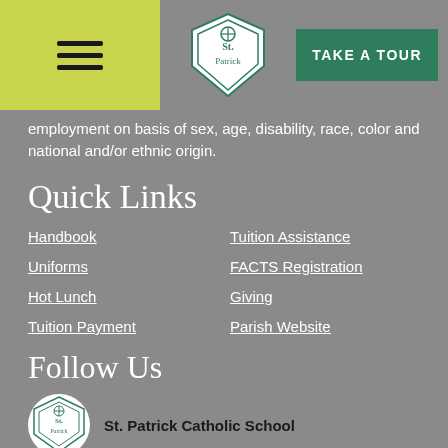TAKE A TOUR
employment on basis of sex, age, disability, race, color and national and/or ethnic origin.
Quick Links
Handbook
Tuition Assistance
Uniforms
FACTS Registration
Hot Lunch
Giving
Tuition Payment
Parish Website
Follow Us
St. Patrick Catholic School
Today we celebrate the Solemnity of the Assumption of the Blessed Virgin Mary. We pray to our lady for